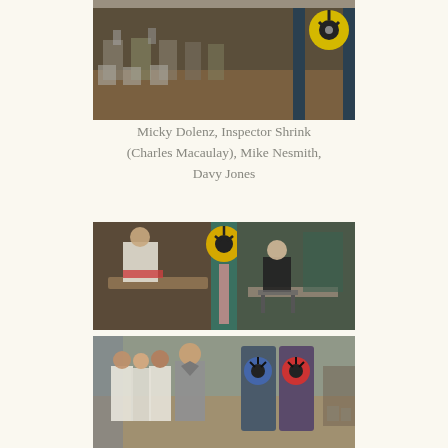[Figure (photo): Film still: A wide industrial room with rows of machinery/workstations visible in background, a reel-to-reel tape machine visible on right side with yellow reel.]
Micky Dolenz, Inspector Shrink (Charles Macaulay), Mike Nesmith, Davy Jones
[Figure (photo): Film still: Close-up scene showing people near a yellow reel-to-reel machine in center, with a person in coat on left near a table and another person at a desk on right.]
[Figure (photo): Film still: Group of people in white outfits standing behind a man in a grey suit, with two colorful reel-to-reel machines (blue and red reels) in background.]